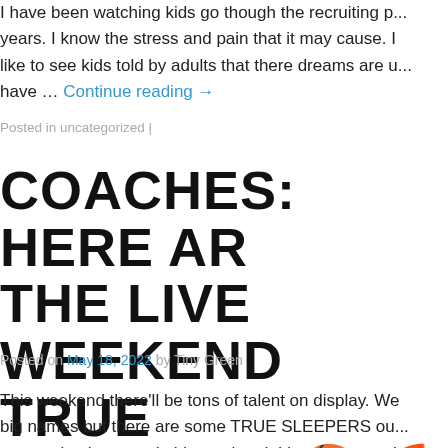I have been watching kids go though the recruiting p... years. I know the stress and pain that it may cause. I like to see kids told by adults that there dreams are u... have … Continue reading →
Posted in uncategorized |
COACHES: HERE AR THE LIVE WEEKEND TRUE SLEEPERS🏀🌈
Posted on May 18, 2022 by Tiny Green
This weekend there'll be tons of talent on display. We big names but there are some TRUE SLEEPERS ou may make there mark this weekend. I love gym rats b